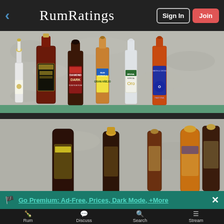RumRatings — Sign In | Join
[Figure (photo): Shelf display of various rum bottles including white, dark, and aged rums from brands including Diamond Dark, Rum Hispaniola, Smith & Cross, and others on two shelves against a stone wall background]
Go Premium: Ad-Free, Prices, Dark Mode, +More
Rum | Discuss | Search | Stream